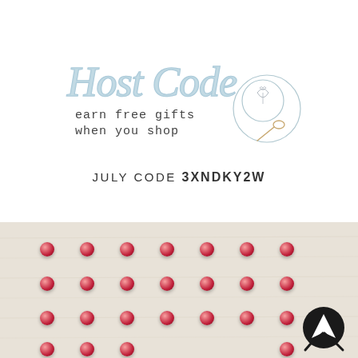[Figure (logo): Host Code logo with script text 'Host Code', subtitle 'earn free gifts when you shop', and a coffee/latte art illustration with spoon]
JULY CODE 3XNDKY2W
[Figure (photo): Red/dark pink pearl embellishments arranged in rows on a light wooden/cream background, with a small dark arrow/navigation icon in the bottom right corner]